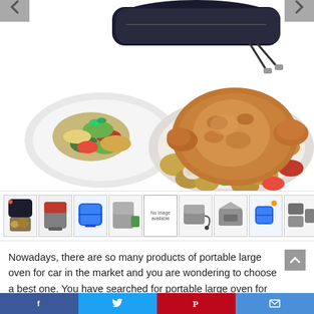[Figure (photo): Product carousel showing a portable insulated food carrier bag at top, with two food plates below (mixed vegetables on left, roasted chicken with potatoes on right). Navigation arrows on left and right sides.]
[Figure (photo): Thumbnail strip showing 9 small product images of various portable food warmers and lunch bags, including one 'No image available' placeholder.]
Nowadays, there are so many products of portable large oven for car in the market and you are wondering to choose a best one. You have searched for portable large oven for car in many merchants, compared about products prices & reviews before deciding to buy them.
Facebook | Twitter | Pinterest | Email